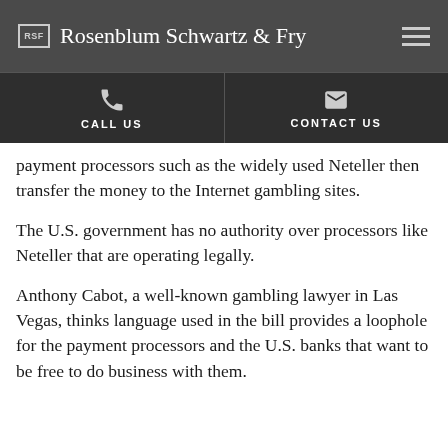Rosenblum Schwartz & Fry
payment processors such as the widely used Neteller then transfer the money to the Internet gambling sites.
The U.S. government has no authority over processors like Neteller that are operating legally.
Anthony Cabot, a well-known gambling lawyer in Las Vegas, thinks language used in the bill provides a loophole for the payment processors and the U.S. banks that want to be free to do business with them.